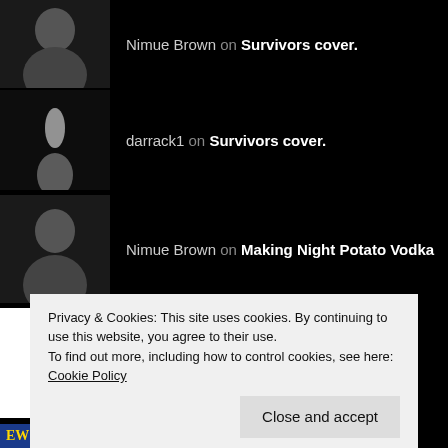Nimue Brown on Survivors cover.
darrack1 on Survivors cover.
Nimue Brown on Making Night Potato Vodka
Martin on Making Night Potato Vodka
Of werewolves and Om… on Werewolf love song
Nimue Brown on The unspeakable thing in the n…
Privacy & Cookies: This site uses cookies. By continuing to use this website, you agree to their use.
To find out more, including how to control cookies, see here: Cookie Policy
Close and accept